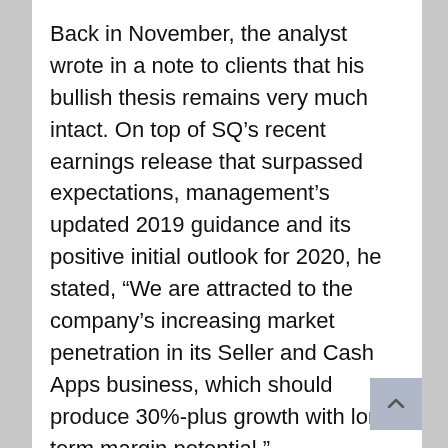Back in November, the analyst wrote in a note to clients that his bullish thesis remains very much intact. On top of SQ's recent earnings release that surpassed expectations, management's updated 2019 guidance and its positive initial outlook for 2020, he stated, "We are attracted to the company's increasing market penetration in its Seller and Cash Apps business, which should produce 30%-plus growth with long-term margin potential."
Based on its increasing market penetration, end-user growth and improving margin profile, driven by SG&A leverage and an increasing margin contribution from other services, Foresi tells investors, "We value SQ at a premium to its peers for its well-above-industry-average growth...